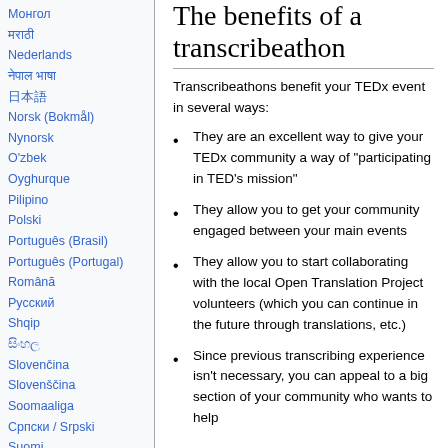Монгол
मराठी
Nederlands
नेपाल भाषा
日本語
Norsk (Bokmål)
Nynorsk
O'zbek
Oyghurque
Pilipino
Polski
Português (Brasil)
Português (Portugal)
Română
Русский
Shqip
සිංහල
Slovenčina
Slovenščina
Soomaaliga
Српски / Srpski
Suomi
Svenska
The benefits of a transcribeathon
Transcribeathons benefit your TEDx event in several ways:
They are an excellent way to give your TEDx community a way of "participating in TED's mission"
They allow you to get your community engaged between your main events
They allow you to start collaborating with the local Open Translation Project volunteers (which you can continue in the future through translations, etc.)
Since previous transcribing experience isn't necessary, you can appeal to a big section of your community who wants to help